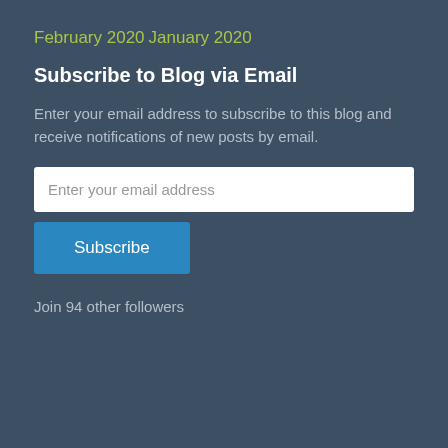February 2020
January 2020
Subscribe to Blog via Email
Enter your email address to subscribe to this blog and receive notifications of new posts by email.
Join 94 other followers